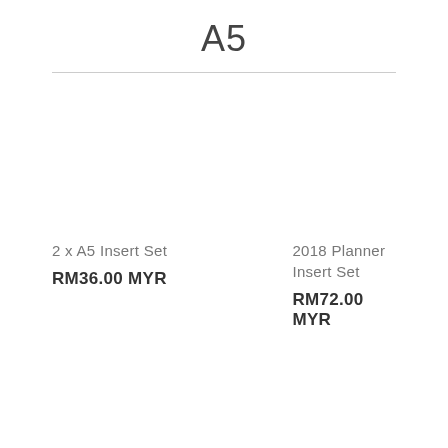A5
2 x A5 Insert Set
RM36.00 MYR
2018 Planner Insert Set
RM72.00 MYR